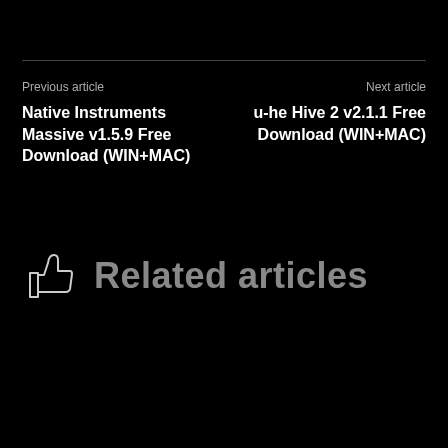Previous article
Native Instruments Massive v1.5.9 Free Download (WIN+MAC)
Next article
u-he Hive 2 v2.1.1 Free Download (WIN+MAC)
Related articles